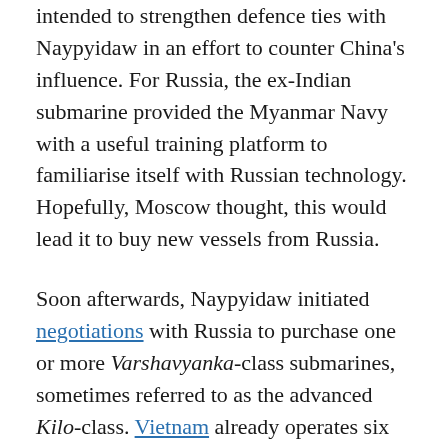intended to strengthen defence ties with Naypyidaw in an effort to counter China's influence. For Russia, the ex-Indian submarine provided the Myanmar Navy with a useful training platform to familiarise itself with Russian technology. Hopefully, Moscow thought, this would lead it to buy new vessels from Russia.
Soon afterwards, Naypyidaw initiated negotiations with Russia to purchase one or more Varshavyanka-class submarines, sometimes referred to as the advanced Kilo-class. Vietnam already operates six of these potent warships, providing it with a formidable deterrent against China in the South China Sea.
Russia is eager to sell submarines to Myanmar to make up for falling defence sales in other Southeast Asian countries (particularly its biggest regional customer, Vietnam) and to usurp China as the junta's number one